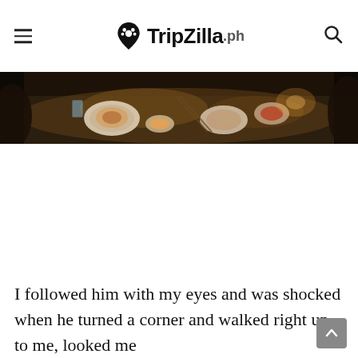TripZilla.ph
[Figure (photo): A dimly lit restaurant table with food dishes, plates, and chopsticks on a dark tablecloth, seen from above at an angle. Warm amber lighting illuminates the spread of food.]
I followed him with my eyes and was shocked when he turned a corner and walked right up to me, looked me